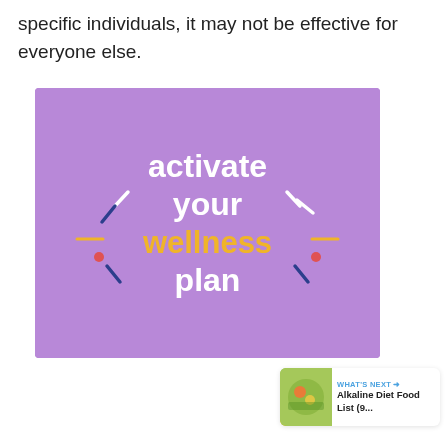specific individuals, it may not be effective for everyone else.
[Figure (illustration): Purple promotional graphic with text 'activate your wellness plan' in white and yellow bold fonts, with decorative lines and dashes around the word 'wellness']
[Figure (infographic): Heart/like button (blue circle), count '1', and share button on the right side of the image]
WHAT'S NEXT → Alkaline Diet Food List (9...